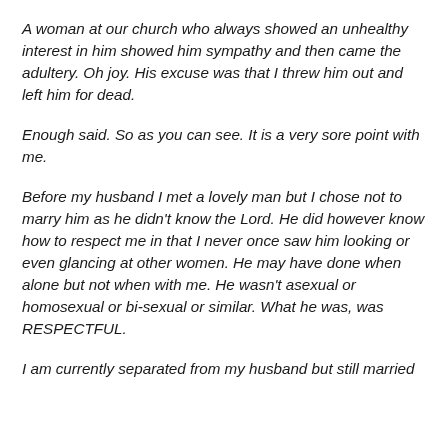A woman at our church who always showed an unhealthy interest in him showed him sympathy and then came the adultery. Oh joy. His excuse was that I threw him out and left him for dead.
Enough said. So as you can see. It is a very sore point with me.
Before my husband I met a lovely man but I chose not to marry him as he didn't know the Lord. He did however know how to respect me in that I never once saw him looking or even glancing at other women. He may have done when alone but not when with me. He wasn't asexual or homosexual or bi-sexual or similar. What he was, was RESPECTFUL.
I am currently separated from my husband but still married